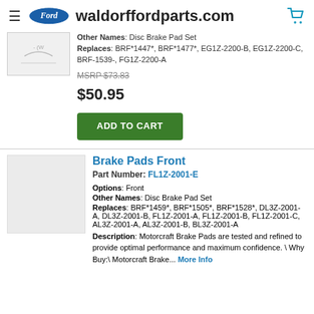waldorffordparts.com
Other Names: Disc Brake Pad Set
Replaces: BRF*1447*, BRF*1477*, EG1Z-2200-B, EG1Z-2200-C, BRF-1539-, FG1Z-2200-A
MSRP $73.83
$50.95
ADD TO CART
Brake Pads Front
Part Number: FL1Z-2001-E
Options: Front
Other Names: Disc Brake Pad Set
Replaces: BRF*1459*, BRF*1505*, BRF*1528*, DL3Z-2001-A, DL3Z-2001-B, FL1Z-2001-A, FL1Z-2001-B, FL1Z-2001-C, AL3Z-2001-A, AL3Z-2001-B, BL3Z-2001-A
Description: Motorcraft Brake Pads are tested and refined to provide optimal performance and maximum confidence. \ Why Buy:\ Motorcraft Brake... More Info